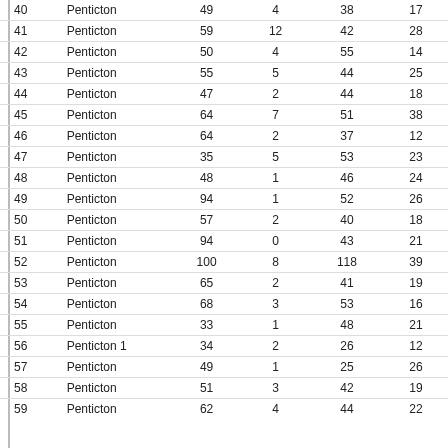| 40 | Penticton | 49 | 4 | 38 | 17 |
| 41 | Penticton | 59 | 12 | 42 | 28 |
| 42 | Penticton | 50 | 4 | 55 | 14 |
| 43 | Penticton | 55 | 5 | 44 | 25 |
| 44 | Penticton | 47 | 2 | 44 | 18 |
| 45 | Penticton | 64 | 7 | 51 | 38 |
| 46 | Penticton | 64 | 2 | 37 | 12 |
| 47 | Penticton | 35 | 5 | 53 | 23 |
| 48 | Penticton | 48 | 1 | 46 | 24 |
| 49 | Penticton | 94 | 1 | 52 | 26 |
| 50 | Penticton | 57 | 2 | 40 | 18 |
| 51 | Penticton | 94 | 0 | 43 | 21 |
| 52 | Penticton | 100 | 8 | 118 | 39 |
| 53 | Penticton | 65 | 2 | 41 | 19 |
| 54 | Penticton | 68 | 3 | 53 | 16 |
| 55 | Penticton | 33 | 1 | 48 | 21 |
| 56 | Penticton 1 | 34 | 2 | 26 | 12 |
| 57 | Penticton | 49 | 1 | 25 | 26 |
| 58 | Penticton | 51 | 3 | 42 | 19 |
| 59 | Penticton | 62 | 4 | 44 | 22 |